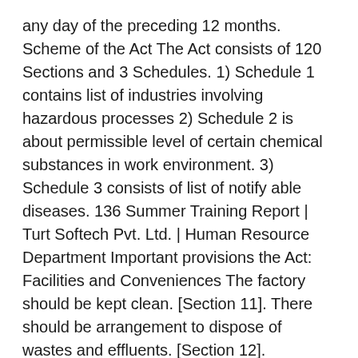any day of the preceding 12 months. Scheme of the Act The Act consists of 120 Sections and 3 Schedules. 1) Schedule 1 contains list of industries involving hazardous processes 2) Schedule 2 is about permissible level of certain chemical substances in work environment. 3) Schedule 3 consists of list of notify able diseases. 136 Summer Training Report | Turt Softech Pvt. Ltd. | Human Resource Department Important provisions the Act: Facilities and Conveniences The factory should be kept clean. [Section 11]. There should be arrangement to dispose of wastes and effluents. [Section 12]. Ventilation should be adequate. Reasonable temperature for comfort of employees should be maintained. [Section 13]. Dust and fumes should be controlled below permissible limits. [Section 14]. Artificial humidification should be at prescribed standard level. [Section 15]. Overcrowding should be avoided. [Section 16]. Adequate lighting, drinking water